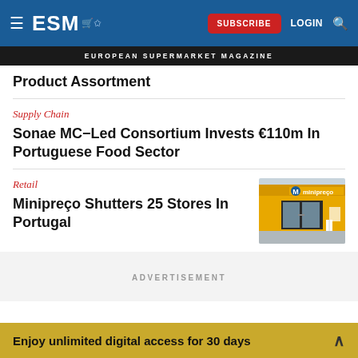ESM | SUBSCRIBE | LOGIN
EUROPEAN SUPERMARKET MAGAZINE
Product Assortment
Supply Chain
Sonae MC-Led Consortium Invests €110m In Portuguese Food Sector
Retail
Minipreço Shutters 25 Stores In Portugal
[Figure (photo): Exterior photograph of a Minipreço convenience store with yellow signage showing M minipreço logo and glass entrance doors]
ADVERTISEMENT
Enjoy unlimited digital access for 30 days